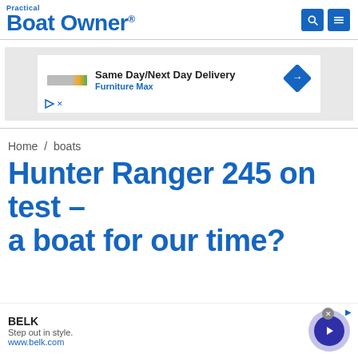Practical Boat Owner
[Figure (screenshot): Advertisement banner: Same Day/Next Day Delivery — Furniture Max, with blue diamond arrow icon]
Home / boats
Hunter Ranger 245 on test – a boat for our time?
[Figure (screenshot): Advertisement: BELK — Step out in style. www.belk.com, with purple circular button]